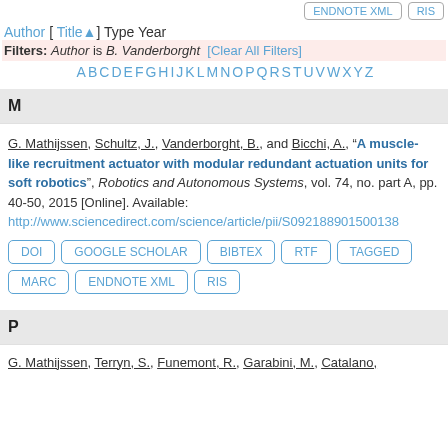ENDNOTE XML   RIS
Author [ Title ] Type Year
Filters: Author is B. Vanderborght [Clear All Filters]
A B C D E F G H I J K L M N O P Q R S T U V W X Y Z
M
G. Mathijssen, Schultz, J., Vanderborght, B., and Bicchi, A., "A muscle-like recruitment actuator with modular redundant actuation units for soft robotics", Robotics and Autonomous Systems, vol. 74, no. part A, pp. 40-50, 2015 [Online]. Available: http://www.sciencedirect.com/science/article/pii/S092188901500138
DOI   GOOGLE SCHOLAR   BIBTEX   RTF   TAGGED   MARC   ENDNOTE XML   RIS
P
G. Mathijssen, Terryn, S., Funemont, R., Garabini, M., Catalano,